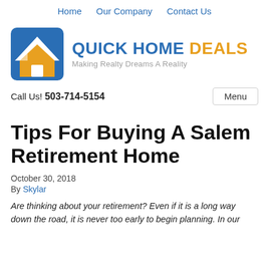Home   Our Company   Contact Us
[Figure (logo): Quick Home Deals logo: blue square with white and orange house roofline icon, beside bold text 'QUICK HOME DEALS' in blue and orange, with tagline 'Making Realty Dreams A Reality' in gray]
Call Us! 503-714-5154    Menu
Tips For Buying A Salem Retirement Home
October 30, 2018
By Skylar
Are thinking about your retirement? Even if it is a long way down the road, it is never too early to begin planning. In our